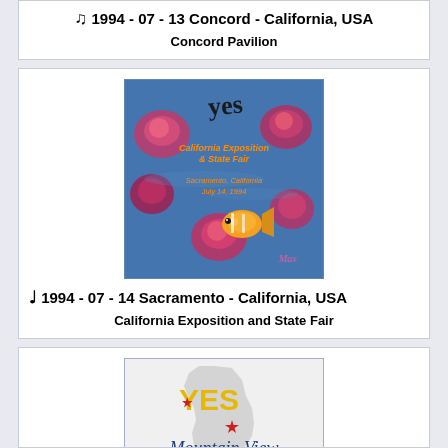♫ 1994 - 07 - 13 Concord - California, USA
Concord Pavilion
[Figure (illustration): Album cover for YES California Exposition & State Fair, Sacramento, California, July 14, 1994, featuring painted roses and fish on blue background with YES logo]
♩ 1994 - 07 - 14 Sacramento - California, USA
California Exposition and State Fair
[Figure (illustration): YES Mountain View California concert image showing YES text in yellow on California state map silhouette with Mountain View in cursive script and a red star]